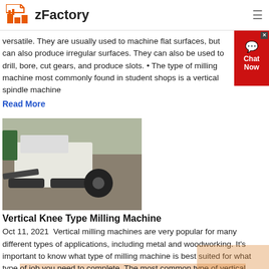zFactory
versatile. They are usually used to machine flat surfaces, but can also produce irregular surfaces. They can also be used to drill, bore, cut gears, and produce slots. • The type of milling machine most commonly found in student shops is a vertical spindle machine
Read More
[Figure (photo): Photo of a vertical knee type milling machine outdoors on a dirt/gravel surface]
Vertical Knee Type Milling Machine
Oct 11, 2021 Vertical milling machines are very popular for many different types of applications, including metal and woodworking. It's important to know what type of milling machine is best suited for what type of job you need to complete. The most common type of vertical knee-type milling machine is known as the chuck vertical machine
Read More